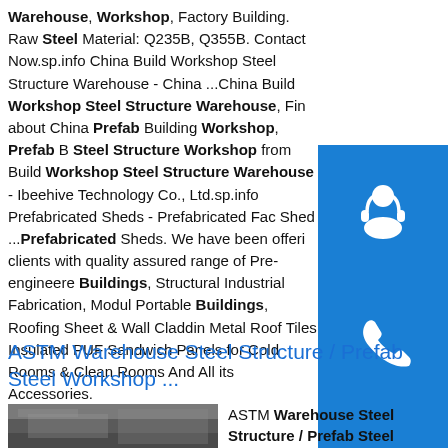Warehouse, Workshop, Factory Building. Raw Steel Material: Q235B, Q355B. Contact Now.sp.info China Build Workshop Steel Structure Warehouse - China ...China Build Workshop Steel Structure Warehouse, Find about China Prefab Building Workshop, Prefab Building Steel Structure Workshop from Build Workshop Steel Structure Warehouse - Ibeehive Technology Co., Ltd.sp.info Prefabricated Sheds - Prefabricated Factory Shed ...Prefabricated Sheds. We have been offering clients with quality assured range of Pre-engineered Buildings, Structural Industrial Fabrication, Modular Portable Buildings, Roofing Sheet & Wall Cladding, Metal Roof Tiles, Insulated PUF Sandwich Panels for Cold Rooms & Clean Rooms And All its Accessories.
[Figure (illustration): Blue icon box with headset/customer support symbol]
[Figure (illustration): Blue icon box with phone call symbol]
[Figure (illustration): Blue icon box with Skype symbol]
ASTM Warehouse Steel Structure / Prefab Steel Workshop ...
[Figure (photo): Photo of warehouse steel structure building]
ASTM Warehouse Steel Structure / Prefab Steel Workshop ...